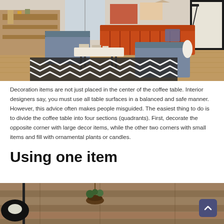[Figure (photo): Living room interior with mid-century modern furniture: orange channeled sofa, gray armchairs, white coffee table with items on it, black and white geometric rug, wooden floor, shelving unit on left wall]
Decoration items are not just placed in the center of the coffee table. Interior designers say, you must use all table surfaces in a balanced and safe manner. However, this advice often makes people misguided. The easiest thing to do is to divide the coffee table into four sections (quadrants). First, decorate the opposite corner with large decor items, while the other two corners with small items and fill with ornamental plants or candles.
Using one item
[Figure (photo): Interior scene with wooden plank wall, black floor lamp, hanging plant in macramé holder, light curtains]